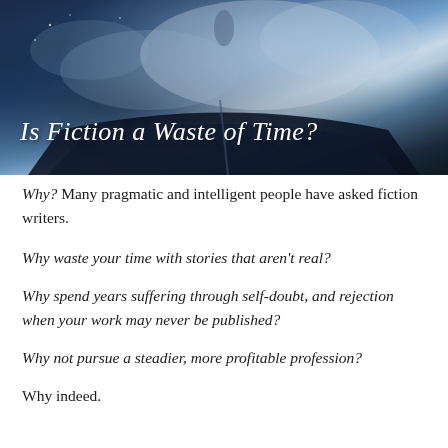[Figure (illustration): A dramatic fantasy image of an open book against a cloudy sky background with ethereal blue-grey tones. The text 'Is Fiction a Waste of Time?' appears in white italic script overlaid on the image.]
Is Fiction a Waste of Time?
Why? Many pragmatic and intelligent people have asked fiction writers.
Why waste your time with stories that aren't real?
Why spend years suffering through self-doubt, and rejection when your work may never be published?
Why not pursue a steadier, more profitable profession?
Why indeed.